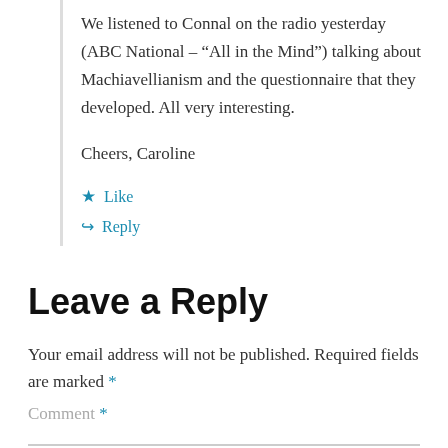We listened to Connal on the radio yesterday (ABC National – “All in the Mind”) talking about Machiavellianism and the questionnaire that they developed. All very interesting.

Cheers, Caroline
★ Like
↳ Reply
Leave a Reply
Your email address will not be published. Required fields are marked *
Comment *